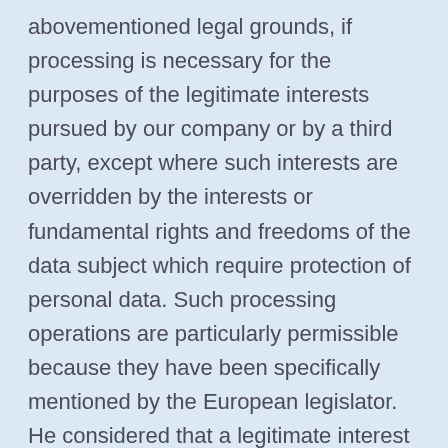abovementioned legal grounds, if processing is necessary for the purposes of the legitimate interests pursued by our company or by a third party, except where such interests are overridden by the interests or fundamental rights and freedoms of the data subject which require protection of personal data. Such processing operations are particularly permissible because they have been specifically mentioned by the European legislator. He considered that a legitimate interest could be assumed if the data subject is a client of the controller (Recital 47 Sentence 2 GDPR).
23. The legitimate interests pursued by